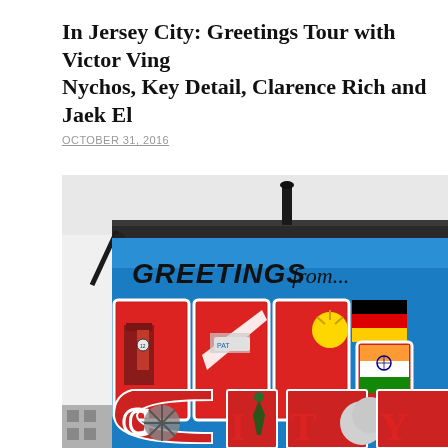In Jersey City: Greetings Tour with Victor Ving, Nychos, Key Detail, Clarence Rich and Jaek El
OCTOBER 31, 2016
[Figure (photo): A large outdoor mural on a building in Jersey City reading 'Greetings from Jersey City' in large retro-style postcard lettering on a bright blue background, with illustrated scenes inside the letters including a clock tower, transit imagery, and multicultural flags and symbols.]